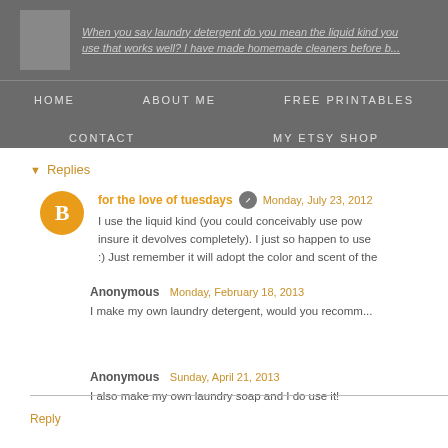HOME  ABOUT ME  FREE PRINTABLES  CONTACT  MY ETSY SHOP
Replies
for the love of tuesdays  Monday, July 23, 2012
I use the liquid kind (you could conceivably use pow... insure it devolves completely). I just so happen to use ... :) Just remember it will adopt the color and scent of the...
Anonymous  Monday, February 18, 2013
I make my own laundry detergent, would you recomm...
Anonymous  Sunday, April 21, 2013
I also make my own laundry soap and I do use it!
Reply